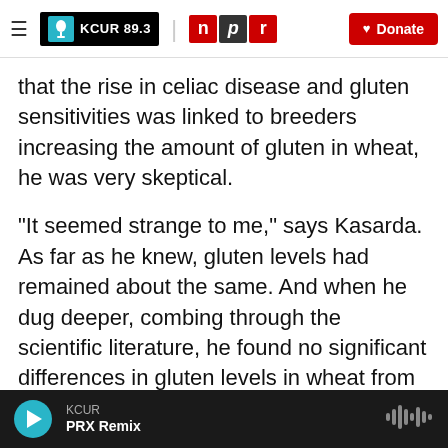KCUR 89.3 | npr | Donate
that the rise in celiac disease and gluten sensitivities was linked to breeders increasing the amount of gluten in wheat, he was very skeptical.
"It seemed strange to me," says Kasarda. As far as he knew, gluten levels had remained about the same. And when he dug deeper, combing through the scientific literature, he found no significant differences in gluten levels in wheat from the early part of the 20th century, compared with gluten levels from the latter half of the century.
So, when it comes to an increase of gluten in
KCUR
PRX Remix